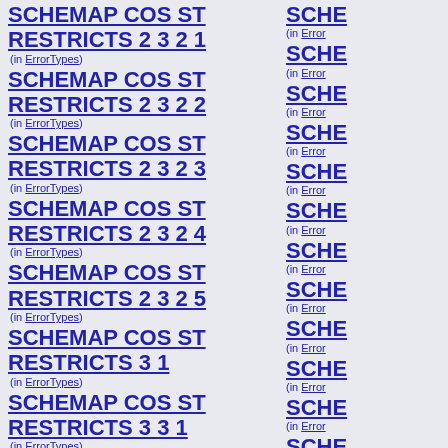SCHEMAP_COS_ST_RESTRICTS_2_3_2_1 (in ErrorTypes)
SCHEMAP_COS_ST_RESTRICTS_2_3_2_2 (in ErrorTypes)
SCHEMAP_COS_ST_RESTRICTS_2_3_2_3 (in ErrorTypes)
SCHEMAP_COS_ST_RESTRICTS_2_3_2_4 (in ErrorTypes)
SCHEMAP_COS_ST_RESTRICTS_2_3_2_5 (in ErrorTypes)
SCHEMAP_COS_ST_RESTRICTS_3_1 (in ErrorTypes)
SCHEMAP_COS_ST_RESTRICTS_3_3_1 (in ErrorTypes)
SCHEMAP_COS_ST_RESTRICTS_3_3_1_2 (in ErrorTypes)
SCHEMAP_COS_ST_RESTRICTS_3_3_2_1 (in ErrorTypes)
SCHEMAP_COS_ST_RESTRICTS_3_3_2_2 (in ErrorTypes)
SCHEMAP_COS_ST_RESTRICTS_3_3_2_3 (in ErrorTypes)
SCHEMAP_COS_ST_RESTRICTS_3_3_2_4 (in ErrorTypes)
SCHEMAP_COS_ST_RESTRICTS_3_3_2_5 (in ErrorTypes)
SCHEMAP_COS_VALID_DEFAULT_1 (in ErrorTypes)
SCHEMAP_COS_VALID_DEFAULT_2_1 (in ErrorTypes)